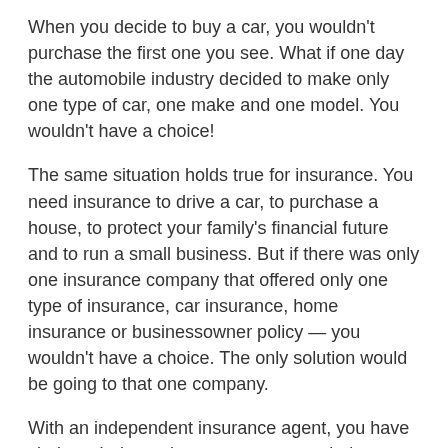When you decide to buy a car, you wouldn't purchase the first one you see. What if one day the automobile industry decided to make only one type of car, one make and one model. You wouldn't have a choice!
The same situation holds true for insurance. You need insurance to drive a car, to purchase a house, to protect your family's financial future and to run a small business. But if there was only one insurance company that offered only one type of insurance, car insurance, home insurance or businessowner policy — you wouldn't have a choice. The only solution would be going to that one company.
With an independent insurance agent, you have choices. Independent agents are not tied to any one insurance company. One of the advantages of using an independent agent is that he or she works to satisfy your needs. You are using an expert for an important financial decision.
An independent agent has several companies that he or she can approach to get you the best coverage at the best